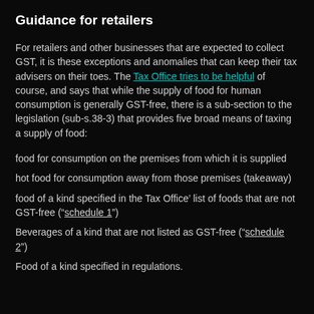Guidance for retailers
For retailers and other businesses that are expected to collect GST, it is these exceptions and anomalies that can keep their tax advisers on their toes. The Tax Office tries to be helpful of course, and says that while the supply of food for human consumption is generally GST-free, there is a sub-section to the legislation (sub-s.38-3) that provides five broad means of taxing a supply of food:
food for consumption on the premises from which it is supplied
hot food for consumption away from those premises (takeaway)
food of a kind specified in the Tax Office’ list of foods that are not GST-free (“schedule 1”)
Beverages of a kind that are not listed as GST-free (“schedule 2”)
Food of a kind specified in regulations.